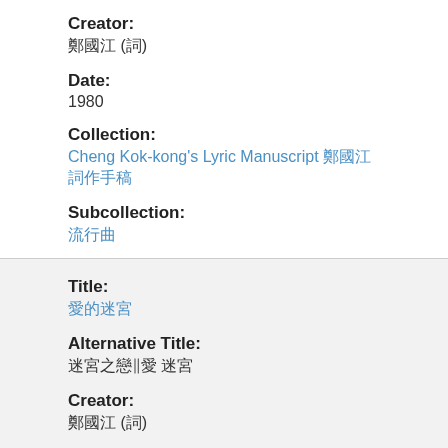Creator:
鄭國江 (詞)
Date:
1980
Collection:
Cheng Kok-kong's Lyric Manuscript 鄭國江詞作手稿
Subcollection:
流行曲
Title:
愛的迷宮
Alternative Title:
迷宮之戀‖愛 迷宮
Creator:
鄭國江 (詞)
Date:
2013-05-06